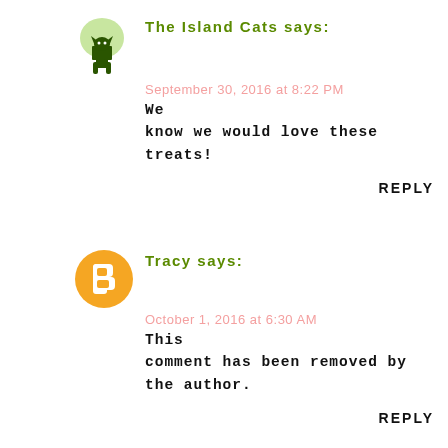The Island Cats says:
September 30, 2016 at 8:22 PM
We know we would love these treats!
REPLY
Tracy says:
October 1, 2016 at 6:30 AM
This comment has been removed by the author.
REPLY